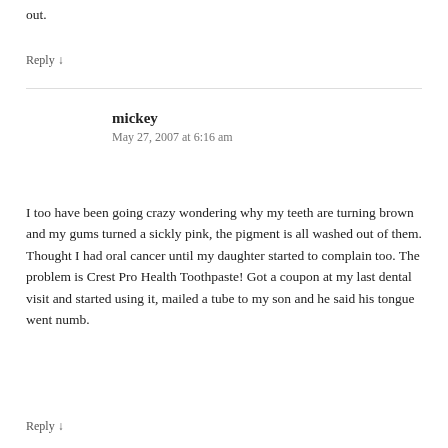out.
Reply ↓
mickey
May 27, 2007 at 6:16 am
I too have been going crazy wondering why my teeth are turning brown and my gums turned a sickly pink, the pigment is all washed out of them. Thought I had oral cancer until my daughter started to complain too. The problem is Crest Pro Health Toothpaste! Got a coupon at my last dental visit and started using it, mailed a tube to my son and he said his tongue went numb.
Reply ↓